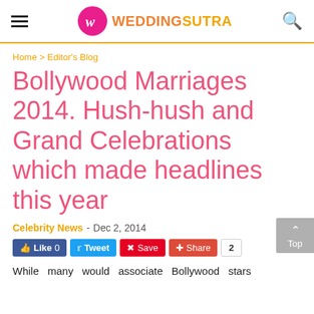WEDDINGSUTRA
Home > Editor's Blog
Bollywood Marriages 2014. Hush-hush and Grand Celebrations which made headlines this year
Celebrity News - Dec 2, 2014
[Figure (infographic): Social sharing buttons: Like 0 (Facebook blue), Tweet (Twitter blue), Save (Pinterest red), Share (Google+ red-orange), count badge showing 2. Also a gray 'Top' button with up arrow on right side.]
While many would associate Bollywood stars